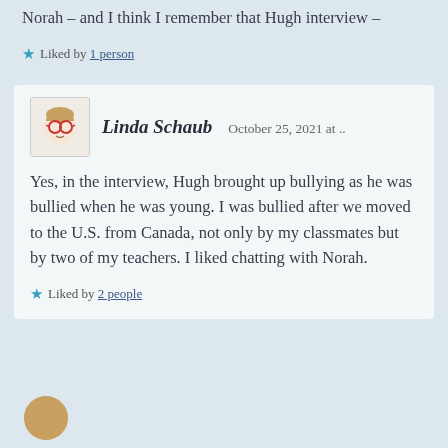Norah – and I think I remember that Hugh interview –
Liked by 1 person
Linda Schaub   October 25, 2021 at ..
Yes, in the interview, Hugh brought up bullying as he was bullied when he was young. I was bullied after we moved to the U.S. from Canada, not only by my classmates but by two of my teachers. I liked chatting with Norah.
Liked by 2 people